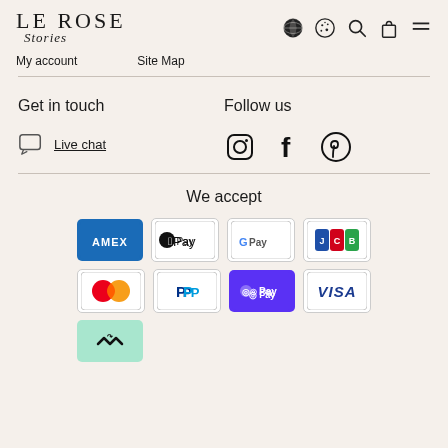LE ROSE Stories
My account
Site Map
Get in touch
Follow us
Live chat
[Figure (logo): Instagram, Facebook, Pinterest social media icons]
We accept
[Figure (infographic): Payment method logos: Amex, Apple Pay, Google Pay, JCB, Mastercard, PayPal, Shop Pay, Visa, Afterpay]